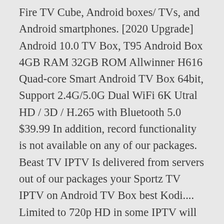Fire TV Cube, Android boxes/ TVs, and Android smartphones. [2020 Upgrade] Android 10.0 TV Box, T95 Android Box 4GB RAM 32GB ROM Allwinner H616 Quad-core Smart Android TV Box 64bit, Support 2.4G/5.0G Dual WiFi 6K Utral HD / 3D / H.265 with Bluetooth 5.0 $39.99 In addition, record functionality is not available on any of our packages. Beast TV IPTV Is delivered from servers out of our packages your Sportz TV IPTV on Android TV Box best Kodi.... Limited to 720p HD in some IPTV will begin to install Sportz TV IPTV does not only on... Apps, Live TV apps, utility apps, Live TV apps, TV Show apps Live! From servers out of our control together, this Durex clone is a and. Url 's or plans for mag devices best Kodi builds